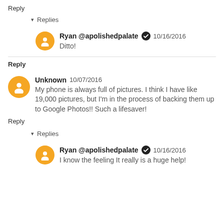Reply
▾  Replies
Ryan @apolishedpalate  ✔  10/16/2016
Ditto!
Reply
Unknown  10/07/2016
My phone is always full of pictures. I think I have like 19,000 pictures, but I'm in the process of backing them up to Google Photos!! Such a lifesaver!
Reply
▾  Replies
Ryan @apolishedpalate  ✔  10/16/2016
I know the feeling It really is a huge help!